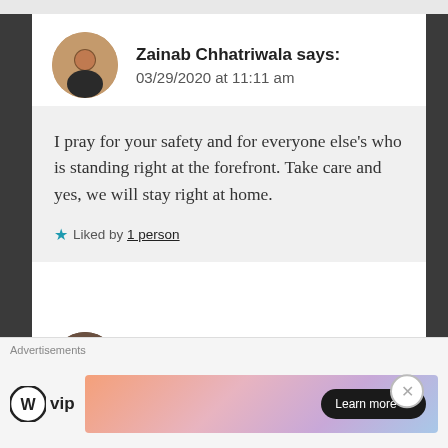Zainab Chhatriwala says: 03/29/2020 at 11:11 am
I pray for your safety and for everyone else's who is standing right at the forefront. Take care and yes, we will stay right at home.
Liked by 1 person
trE says:
Advertisements
[Figure (logo): WordPress VIP logo with circle W icon and 'vip' text, alongside an advertisement banner with gradient background and 'Learn more' button]